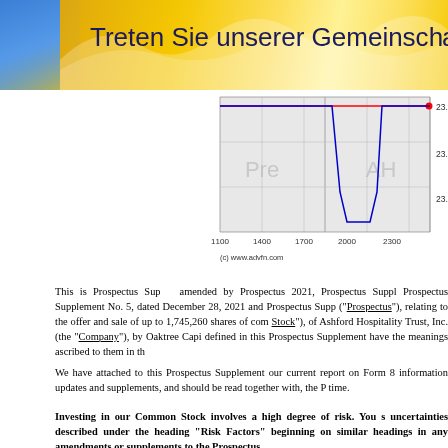Treten Sie unserer Gemeinsch…
[Figure (continuous-plot): Stock price intraday chart showing pre-market and after-hours trading. X-axis: 1100 to 2300. Y-axis: 23.4 to 23.6. Red horizontal line near top, blue line showing sharp dip around 2000-2200. Background sections labeled 'Pre' and 'AH'. Copyright (c) www.advfn.com]
This is Prospectus Supplement No. amended by Prospectus 2021, Prospectus Suppl Prospectus Supplement No. 5, dated December 28, 2021 and Prospectus Supp ("Prospectus"), relating to the offer and sale of up to 1,745,260 shares of common Stock"), of Ashford Hospitality Trust, Inc. (the "Company"), by Oaktree Capi defined in this Prospectus Supplement have the meanings ascribed to them in th
We have attached to this Prospectus Supplement our current report on Form 8 information updates and supplements, and should be read together with, the P time.
Investing in our Common Stock involves a high degree of risk. You s uncertainties described under the heading “Risk Factors” beginning on similar headings in any amendments or supplements to the Prospectus.